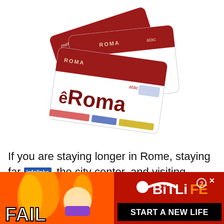[Figure (photo): Three red and white eRoma / metrebus card transit cards fanned out, showing the ATAC Rome public transport branding with chip and transport icons]
If you are staying longer in Rome, staying far [infolinks] the city center, and visiting beyond the
[Figure (infographic): Advertisement banner for BitLife game. Left side: orange/red fire background with 'FAIL' text in white and cartoon character. Right side: dark red background with BitLife logo, question mark, X close button, sperm icon, and 'START A NEW LIFE' in black bar.]